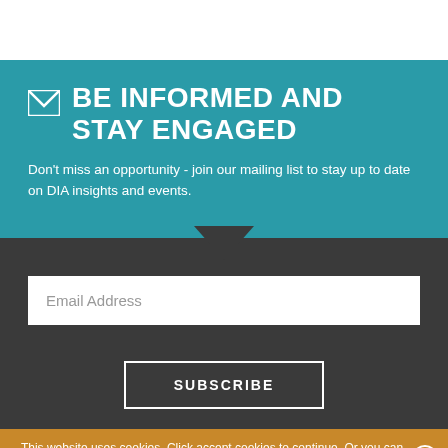BE INFORMED and STAY ENGAGED
Don't miss an opportunity - join our mailing list to stay up to date on DIA insights and events.
Email Address
SUBSCRIBE
This website uses cookies. Click accept cookies to continue. Or you can disable cookies, but it will affect your experience. Learn more.